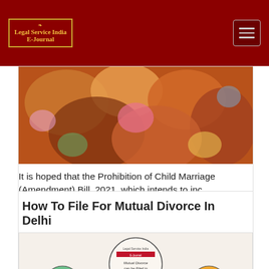Legal Service India E-Journal
[Figure (photo): Colorful Indian fabrics/garments piled together, associated with child marriage article]
It is hoped that the Prohibition of Child Marriage (Amendment) Bill, 2021, which intends to inc…
How To File For Mutual Divorce In Delhi
[Figure (infographic): Infographic showing 'Mutual Divorce can be Filed in Three Places namely' with a central circle and three surrounding circles: green (Where they not Resided), dark (hand gesture icon), and orange (Where the Wife Resides)]